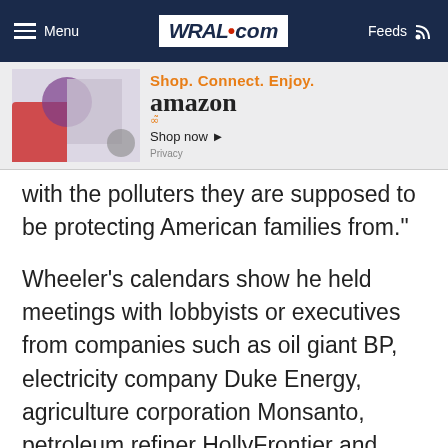Menu | WRAL.com | Feeds
[Figure (other): Amazon advertisement banner: Shop. Connect. Enjoy. amazon Shop now. Privacy.]
with the polluters they are supposed to be protecting American families from."
Wheeler's calendars show he held meetings with lobbyists or executives from companies such as oil giant BP, electricity company Duke Energy, agriculture corporation Monsanto, petroleum refiner HollyFrontier and others.